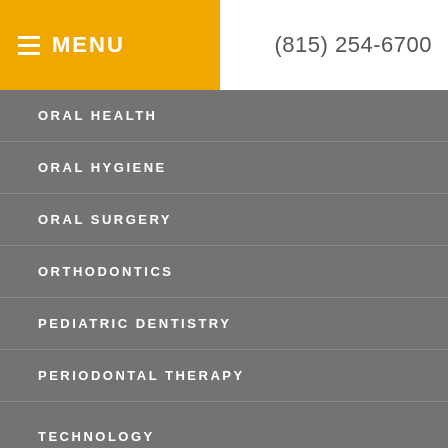≡ MENU   (815) 254-6700
ORAL HEALTH
ORAL HYGIENE
ORAL SURGERY
ORTHODONTICS
PEDIATRIC DENTISTRY
PERIODONTAL THERAPY
TECHNOLOGY
[Figure (logo): Circular accessibility icon with person symbol in white on dark blue background]